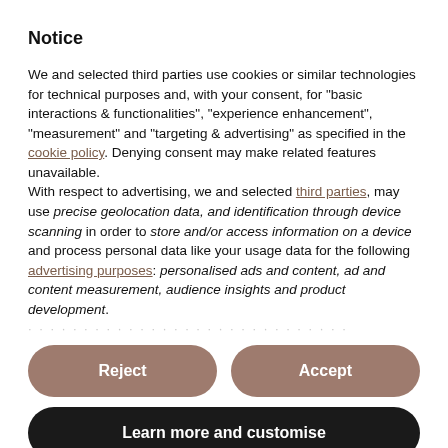Notice
We and selected third parties use cookies or similar technologies for technical purposes and, with your consent, for “basic interactions & functionalities”, “experience enhancement”, “measurement” and “targeting & advertising” as specified in the cookie policy. Denying consent may make related features unavailable.
With respect to advertising, we and selected third parties, may use precise geolocation data, and identification through device scanning in order to store and/or access information on a device and process personal data like your usage data for the following advertising purposes: personalised ads and content, ad and content measurement, audience insights and product development.
Reject
Accept
Learn more and customise